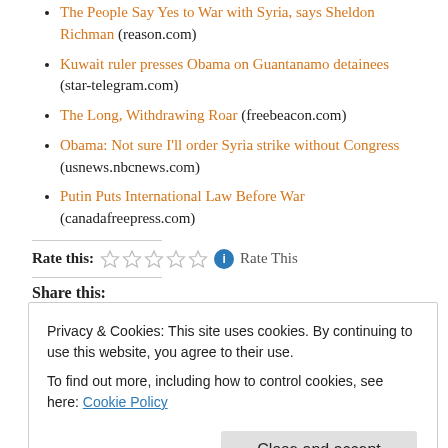The People Say Yes to War with Syria, says Sheldon Richman (reason.com)
Kuwait ruler presses Obama on Guantanamo detainees (star-telegram.com)
The Long, Withdrawing Roar (freebeacon.com)
Obama: Not sure I'll order Syria strike without Congress (usnews.nbcnews.com)
Putin Puts International Law Before War (canadafreepress.com)
Rate this: [stars] Rate This
Share this:
Privacy & Cookies: This site uses cookies. By continuing to use this website, you agree to their use. To find out more, including how to control cookies, see here: Cookie Policy
Close and accept
Related: